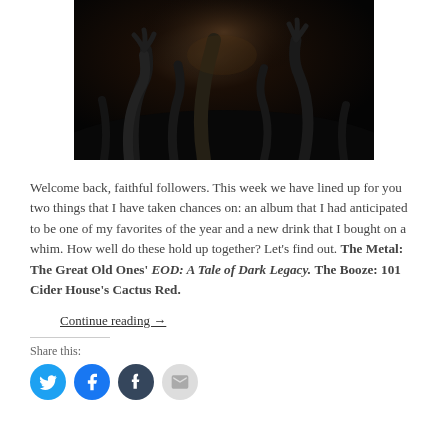[Figure (photo): Dark concert photo showing a performer and crowd reaching up with hands, dramatic black lighting]
Welcome back, faithful followers. This week we have lined up for you two things that I have taken chances on: an album that I had anticipated to be one of my favorites of the year and a new drink that I bought on a whim. How well do these hold up together? Let's find out. The Metal: The Great Old Ones' EOD: A Tale of Dark Legacy. The Booze: 101 Cider House's Cactus Red.
Continue reading →
Share this: